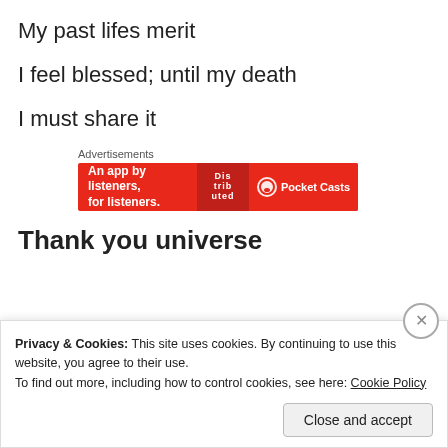My past lifes merit
I feel blessed; until my death
I must share it
[Figure (screenshot): Advertisement banner for Pocket Casts app: red background with text 'An app by listeners, for listeners.' and Pocket Casts logo]
Thank you universe
Privacy & Cookies: This site uses cookies. By continuing to use this website, you agree to their use.
To find out more, including how to control cookies, see here: Cookie Policy